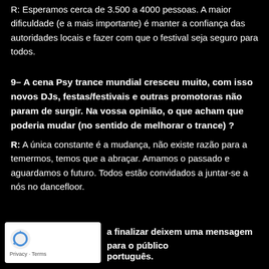R: Esperamos cerca de 3.500 a 4000 pessoas. A maior dificuldade (e a mais importante) é manter a confiança das autoridades locais e fazer com que o festival seja seguro para todos.
9– A cena Psy trance mundial cresceu muito, com isso novos DJs, festas/festivais e outras promotoras não param de surgir. Na vossa opinião, o que acham que poderia mudar (no sentido de melhorar o trance) ?
R: A única constante é a mudança, não existe razão para a temermos, temos que a abraçar. Amamos o passado e aguardamos o futuro. Todos estão convidados a juntar-se a nós no dancefloor.
a finalizar deixem uma mensagem para o público português.